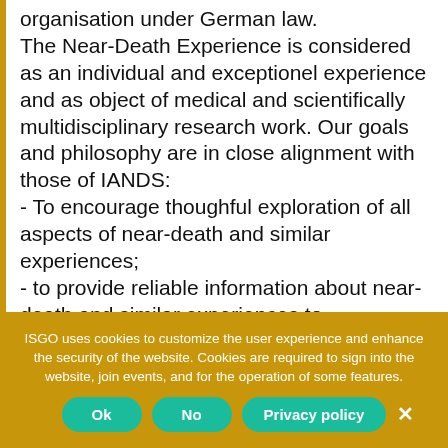organisation under German law. The Near-Death Experience is considered as an individual and exceptionel experience and as object of medical and scientifically multidisciplinary research work. Our goals and philosophy are in close alignment with those of IANDS:
- To encourage thoughful exploration of all aspects of near-death and similar experiences;
- to provide reliable information about near-death and similar experiences to
ISGO uses cookies to customize the user experience and enhance the security of the website. Cookies are required to sign into the website, join events, and for the operation of some features.